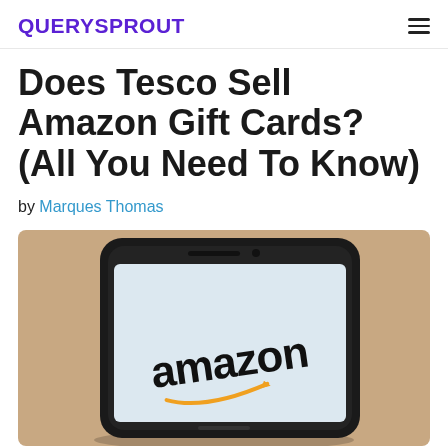QUERYSPROUT
Does Tesco Sell Amazon Gift Cards? (All You Need To Know)
by Marques Thomas
[Figure (photo): A smartphone with the Amazon logo displayed on its screen, resting on a light brown/beige surface.]